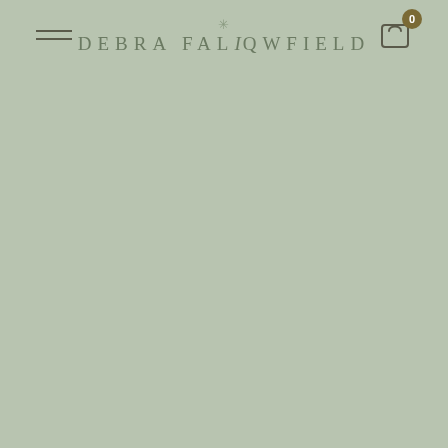[Figure (logo): Debra Faliqwfield brand logo with snowflake/asterisk icon above the text, centered in the page header navigation bar. The logo text reads DEBRA FALIQWFIELD in spaced serif capitals.]
[Figure (other): Hamburger menu icon (two horizontal lines) on the left side of the header navigation bar.]
[Figure (other): Shopping bag cart icon on the right side of the header navigation bar with a dark olive/gold badge showing the number 0.]